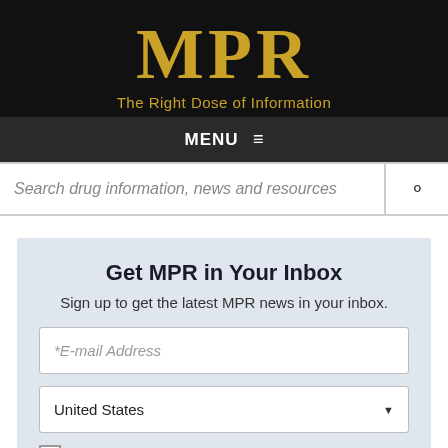MPR
The Right Dose of Information
MENU
Search drug information, news and resources
Get MPR in Your Inbox
Sign up to get the latest MPR news in your inbox.
*E-mail Address
United States